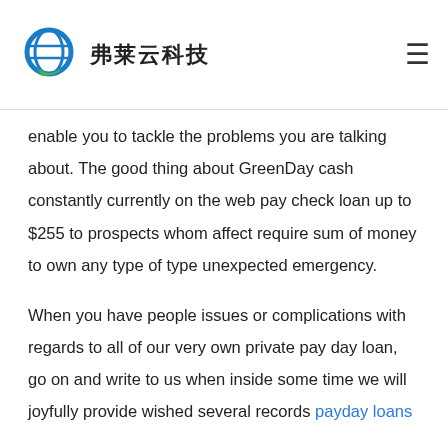弗莱云科技
enable you to tackle the problems you are talking about. The good thing about GreenDay cash constantly currently on the web pay check loan up to $255 to prospects whom affect require sum of money to own any type of type unexpected emergency.
When you have people issues or complications with regards to all of our very own private pay day loan, go on and write to us when inside some time we will joyfully provide wished several records payday loans